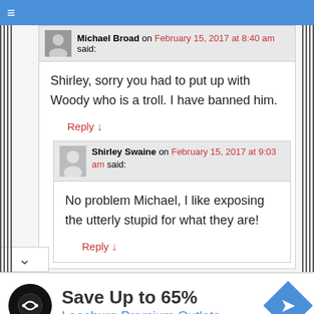≡
Michael Broad on February 15, 2017 at 8:40 am said:
Shirley, sorry you had to put up with Woody who is a troll. I have banned him.
Reply ↓
Shirley Swaine on February 15, 2017 at 9:03 am said:
No problem Michael, I like exposing the utterly stupid for what they are!
Reply ↓
[Figure (infographic): Advertisement banner: Save Up to 65% Leesburg Premium Outlets with logo and navigation icon]